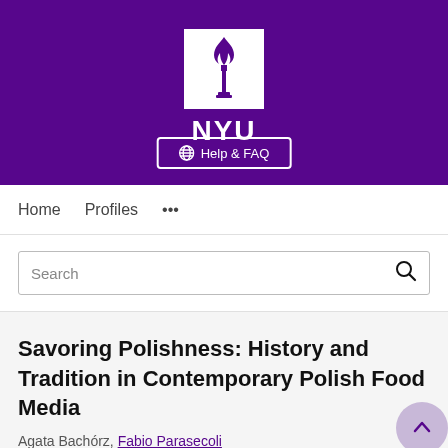[Figure (logo): NYU (New York University) logo — white torch icon in a white box on purple background, with NYU text in white below, on a purple banner. Includes a Help & FAQ button at the bottom of the banner.]
Home   Profiles   ...
Search
Savoring Polishness: History and Tradition in Contemporary Polish Food Media
Agata Bachórz, Fabio Parasecoli